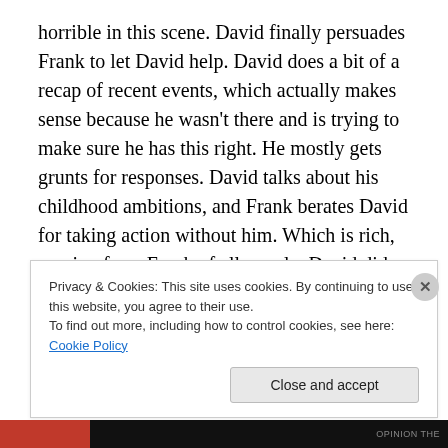horrible in this scene. David finally persuades Frank to let David help. David does a bit of a recap of recent events, which actually makes sense because he wasn't there and is trying to make sure he has this right. He mostly gets grunts for responses. David talks about his childhood ambitions, and Frank berates David for taking action without him. Which is rich, coming from Frank of all people. David did have some reasonable motivations for doing what he did, but Frank really isn't in the mood to listen. Or think.
Privacy & Cookies: This site uses cookies. By continuing to use this website, you agree to their use.
To find out more, including how to control cookies, see here: Cookie Policy